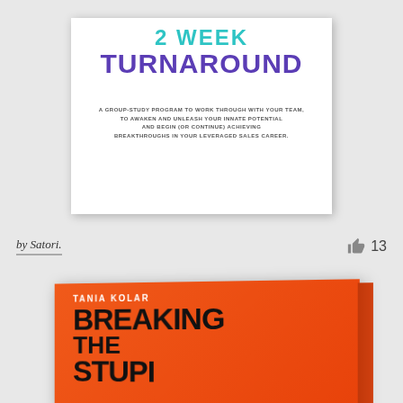[Figure (photo): Book cover for a group-study program titled '2-Week Turnaround' with subtitle text about working through with your team to awaken and unleash innate potential and achieve breakthroughs in leveraged sales career. White background cover with teal and purple typography.]
by Satori.
13
[Figure (photo): Book cover for 'Breaking the Stupid' by Tania Kolar. Orange book shown in 3D perspective with black bold typography on an orange background.]